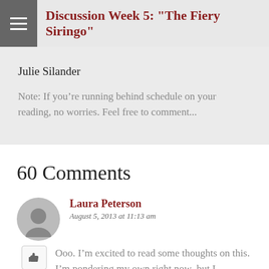Discussion Week 5: "The Fiery Siringo"
Julie Silander
Note: If you’re running behind schedule on your reading, no worries. Feel free to comment...
60 Comments
Laura Peterson
August 5, 2013 at 11:13 am
Ooo. I’m excited to read some thoughts on this. I’m pondering my own right now–but I